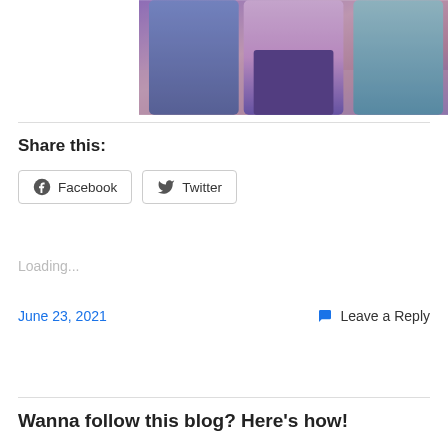[Figure (photo): Partial view of people standing, cropped at torso level, with purple/lavender lighting tones]
Share this:
Facebook
Twitter
Loading...
June 23, 2021
Leave a Reply
Wanna follow this blog? Here's how!